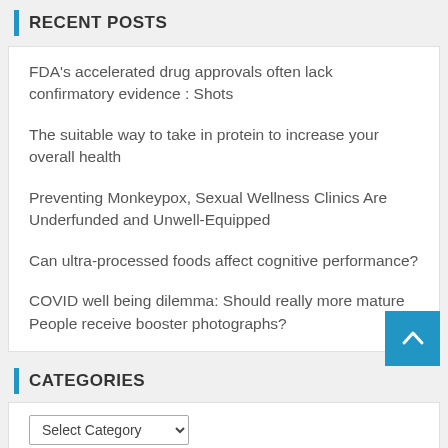RECENT POSTS
FDA's accelerated drug approvals often lack confirmatory evidence : Shots
The suitable way to take in protein to increase your overall health
Preventing Monkeypox, Sexual Wellness Clinics Are Underfunded and Unwell-Equipped
Can ultra-processed foods affect cognitive performance?
COVID well being dilemma: Should really more mature People receive booster photographs?
CATEGORIES